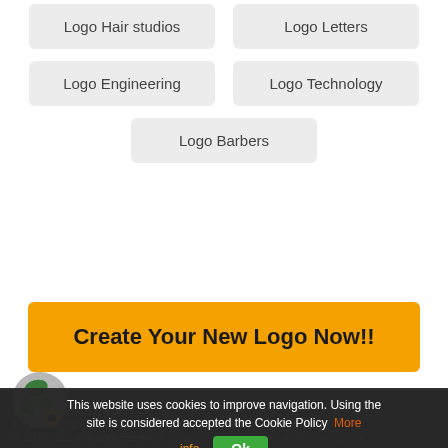Logo Hair studios
Logo Letters
Logo Engineering
Logo Technology
Logo Barbers
Create Your New Logo Now!!
[Figure (logo): LogoFactory globe logo with green and orange gear/map elements]
LogoFactory
Logofactoryhd.com
© 2008-2022 All Rights Reserved
This website uses cookies to improve navigation. Using the site is considered accepted the Cookie Policy  More
CONTACT US   LEGAL   COOKIE POLICE   PRIVACY